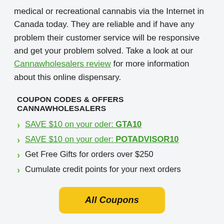medical or recreational cannabis via the Internet in Canada today. They are reliable and if have any problem their customer service will be responsive and get your problem solved. Take a look at our Cannawholesalers review for more information about this online dispensary.
COUPON CODES & OFFERS CANNAWHOLESALERS
SAVE $10 on your oder: GTA10
SAVE $10 on your oder: POTADVISOR10
Get Free Gifts for orders over $250
Cumulate credit points for your next orders
All Coupons